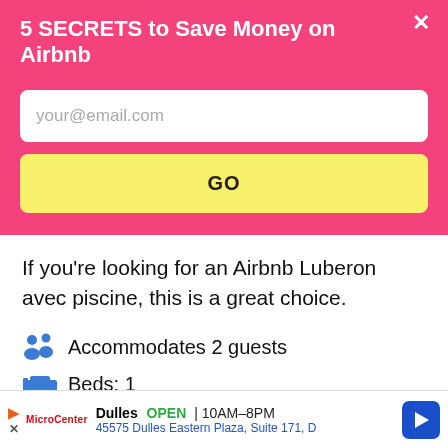5 SECRETS to Save Money on Airbnb
your@email.com
GO
If you're looking for an Airbnb Luberon avec piscine, this is a great choice.
Accommodates 2 guests
Beds: 1
[Figure (photo): Outdoor photo showing blue sky and trees]
Dulles  OPEN  10AM–8PM  45575 Dulles Eastern Plaza, Suite 171, D